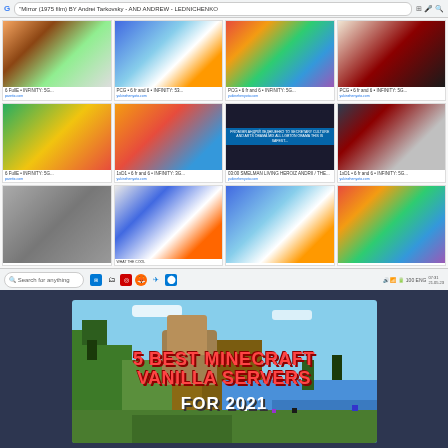[Figure (screenshot): Browser screenshot showing Google Images search for 'Mirror (1975 film) BY Andrei Tarkovsky - AND ANDREW - LEDNICHENKO' with a 4x3 grid of image search results, followed by a Windows taskbar at the bottom]
[Figure (screenshot): Minecraft video thumbnail showing '5 BEST MINECRAFT VANILLA SERVERS FOR 2021' with a Minecraft landscape background]